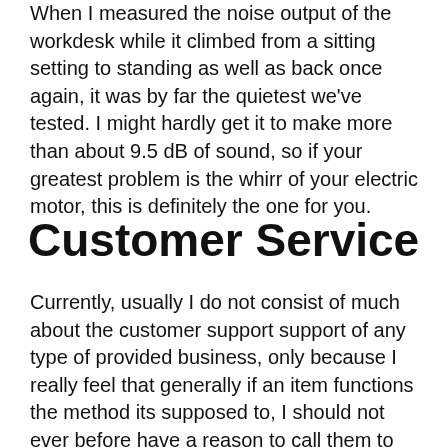When I measured the noise output of the workdesk while it climbed from a sitting setting to standing as well as back once again, it was by far the quietest we've tested. I might hardly get it to make more than about 9.5 dB of sound, so if your greatest problem is the whirr of your electric motor, this is definitely the one for you.
Customer Service
Currently, usually I do not consist of much about the customer support support of any type of provided business, only because I really feel that generally if an item functions the method its supposed to, I should not ever before have a reason to call them to begin with. And also while I desire I could say